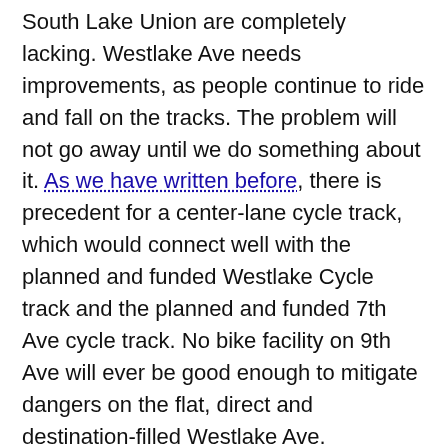South Lake Union are completely lacking. Westlake Ave needs improvements, as people continue to ride and fall on the tracks. The problem will not go away until we do something about it. As we have written before, there is precedent for a center-lane cycle track, which would connect well with the planned and funded Westlake Cycle track and the planned and funded 7th Ave cycle track. No bike facility on 9th Ave will ever be good enough to mitigate dangers on the flat, direct and destination-filled Westlake Ave.
Thomas St is supposed to be a “green street” from Eastlake Ave to the Elliott Bay Trail by the time the grid is reconnected to Lower Queen Anne due to the Hwy 99 deep bore tunnel. Previous plans for a reconnected SLU/Queen Anne looked at a cycle track on Thomas and bike lanes Harrison. These plans should be reflected in the Master Plan. If we are not careful, Harrison could